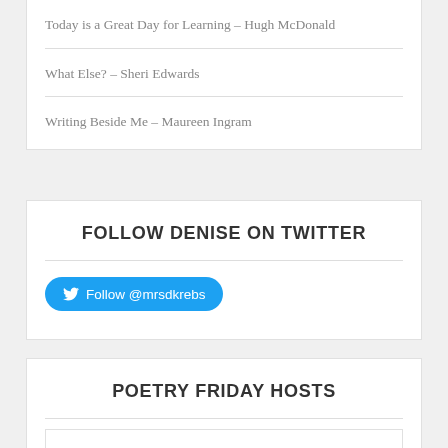Today is a Great Day for Learning – Hugh McDonald
What Else? – Sheri Edwards
Writing Beside Me – Maureen Ingram
FOLLOW DENISE ON TWITTER
Follow @mrsdkrebs
POETRY FRIDAY HOSTS